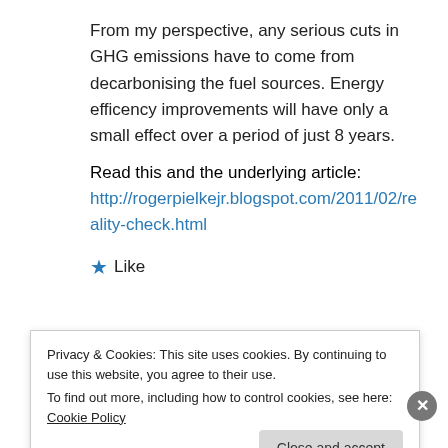From my perspective, any serious cuts in GHG emissions have to come from decarbonising the fuel sources. Energy efficency improvements will have only a small effect over a period of just 8 years.
Read this and the underlying article: http://rogerpielkejr.blogspot.com/2011/02/reality-check.html
★ Like
Privacy & Cookies: This site uses cookies. By continuing to use this website, you agree to their use.
To find out more, including how to control cookies, see here: Cookie Policy
Close and accept